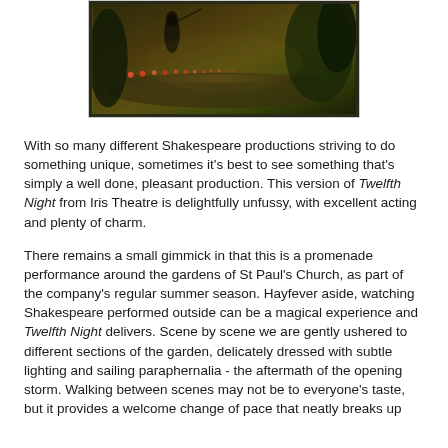[Figure (photo): A darkly lit garden scene with a figure and a row of flowers, likely tulips, in a theatrical or atmospheric outdoor setting.]
With so many different Shakespeare productions striving to do something unique, sometimes it's best to see something that's simply a well done, pleasant production. This version of Twelfth Night from Iris Theatre is delightfully unfussy, with excellent acting and plenty of charm.
There remains a small gimmick in that this is a promenade performance around the gardens of St Paul's Church, as part of the company's regular summer season. Hayfever aside, watching Shakespeare performed outside can be a magical experience and Twelfth Night delivers. Scene by scene we are gently ushered to different sections of the garden, delicately dressed with subtle lighting and sailing paraphernalia - the aftermath of the opening storm. Walking between scenes may not be to everyone's taste, but it provides a welcome change of pace that neatly breaks up